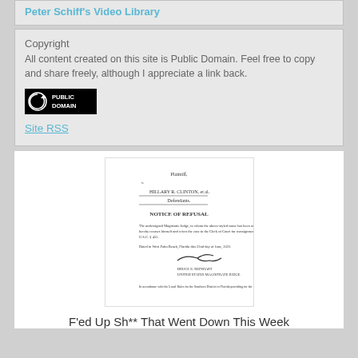Peter Schiff's Video Library
Copyright
All content created on this site is Public Domain. Feel free to copy and share freely, although I appreciate a link back.
[Figure (logo): Public Domain badge with circular arrow icon and text PUBLIC DOMAIN on black background]
Site RSS
[Figure (screenshot): Scanned legal document showing a Notice of Refusal signed by a US Magistrate Judge, dated in West Palm Beach Florida]
F'ed Up Sh** That Went Down This Week